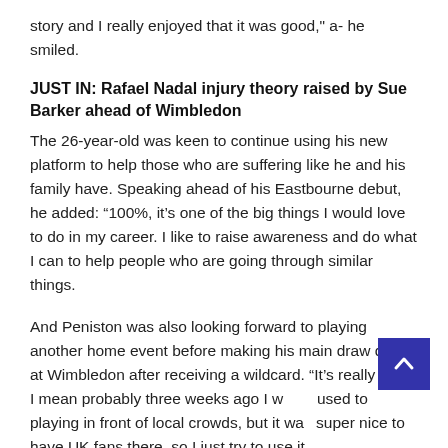story and I really enjoyed that it was good," a- he smiled.
JUST IN: Rafael Nadal injury theory raised by Sue Barker ahead of Wimbledon
The 26-year-old was keen to continue using his new platform to help those who are suffering like he and his family have. Speaking ahead of his Eastbourne debut, he added: “100%, it’s one of the big things I would love to do in my career. I like to raise awareness and do what I can to help people who are going through similar things.
And Peniston was also looking forward to playing another home event before making his main draw debut at Wimbledon after receiving a wildcard. “It’s really nice, I mean probably three weeks ago I w used to playing in front of local crowds, but it wa super nice to have UK fans there, so I just try to use it as a positive,” he said.